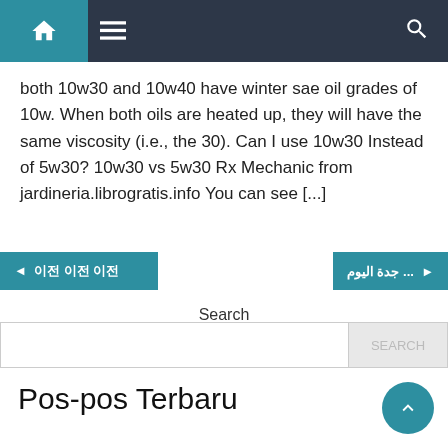Navigation bar with home, menu, and search icons
both 10w30 and 10w40 have winter sae oil grades of 10w. When both oils are heated up, they will have the same viscosity (i.e., the 30). Can I use 10w30 Instead of 5w30? 10w30 vs 5w30 Rx Mechanic from jardineria.librogratis.info You can see [...]
◄ 이전 이전 이전 ... جدة اليوم ►
Search
Pos-pos Terbaru
Kurma Ayam Sedap
Hari Raya Puasa Day
Ayam Ungkep Kecap